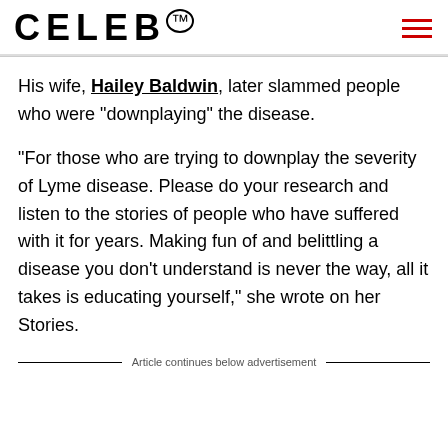CELEB™
His wife, Hailey Baldwin, later slammed people who were “downplaying” the disease.
“For those who are trying to downplay the severity of Lyme disease. Please do your research and listen to the stories of people who have suffered with it for years. Making fun of and belittling a disease you don’t understand is never the way, all it takes is educating yourself,” she wrote on her Stories.
Article continues below advertisement